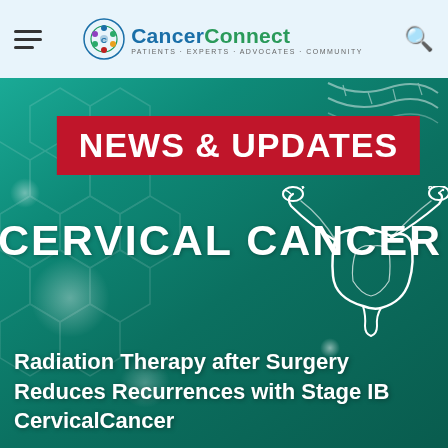CancerConnect — Patients · Experts · Advocates · Community
[Figure (illustration): CancerConnect website screenshot showing a teal/green background with 'News & Updates' red banner, 'Cervical Cancer' text with a uterus anatomical illustration, and hexagonal pattern overlay]
Radiation Therapy after Surgery Reduces Recurrences with Stage IB CervicalCancer